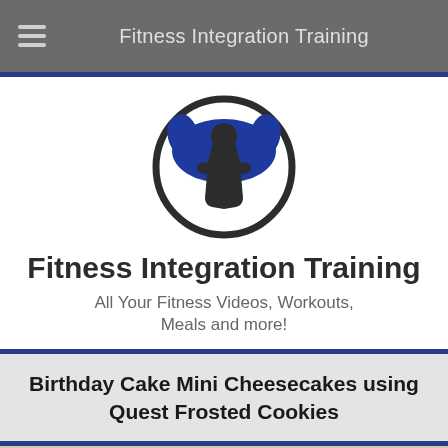Fitness Integration Training
[Figure (logo): Circular logo with dark outline circle, blue muscular arms/figure silhouette and dark body silhouette of a person flexing]
Fitness Integration Training
All Your Fitness Videos, Workouts, Meals and more!
Birthday Cake Mini Cheesecakes using Quest Frosted Cookies
[Figure (photo): Bottom strip showing food items - birthday cake mini cheesecakes]